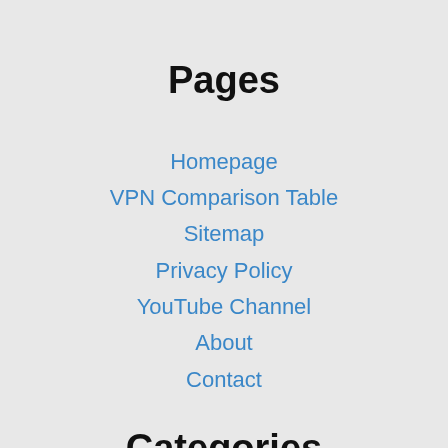Pages
Homepage
VPN Comparison Table
Sitemap
Privacy Policy
YouTube Channel
About
Contact
Categories